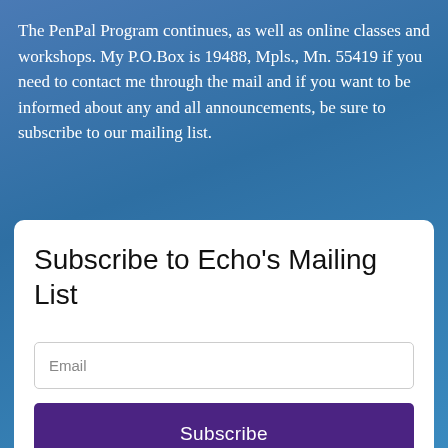The PenPal Program continues, as well as online classes and workshops. My P.O.Box is 19488, Mpls., Mn. 55419 if you need to contact me through the mail and if you want to be informed about any and all announcements, be sure to subscribe to our mailing list.
Subscribe to Echo's Mailing List
Email
Subscribe